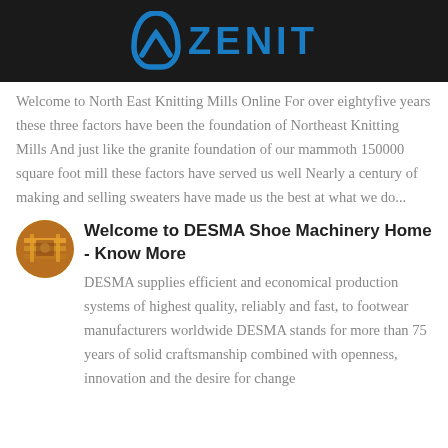ZENIT
Welcome to North East Knitting Mills Online For over eightyfive years these three factors have been the foundation of Northeast Knitting Mills And just like the granite foundation of our mammoth 150000 square foot mill these factors have served us well Nearly a century of making and selling sweaters have made us the best at what we do...
[Figure (photo): Small circular thumbnail image of industrial/machinery equipment in yellow-orange tones]
Welcome to DESMA Shoe Machinery Home - Know More
DESMA supplies efficient and economical production systems of highest quality, reliably and fast, to footwear manufacturers worldwide DESMA stands for more than 75 years of solid craftsmanship combined with openness, innovation and the desire for change